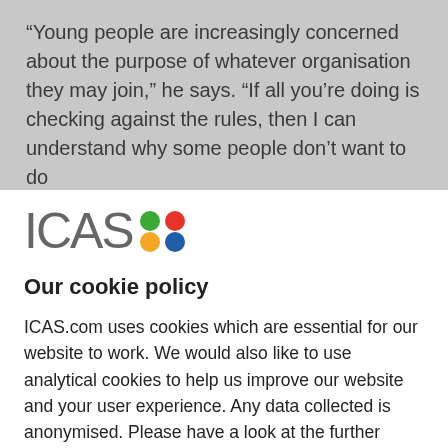“Young people are increasingly concerned about the purpose of whatever organisation they may join,” he says. “If all you’re doing is checking against the rules, then I can understand why some people don’t want to do
[Figure (logo): ICAS logo with colored dots (green, red, yellow, blue) arranged in a 2x2 grid]
Our cookie policy
ICAS.com uses cookies which are essential for our website to work. We would also like to use analytical cookies to help us improve our website and your user experience. Any data collected is anonymised. Please have a look at the further information in our cookie policy and confirm if you are happy for us to use analytical cookies:
ACCEPT ALL COOKIES